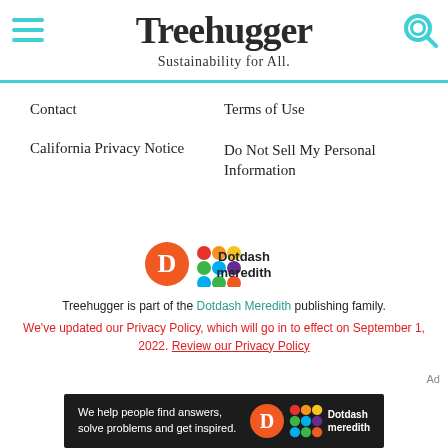Treehugger — Sustainability for All.
Contact
Terms of Use
California Privacy Notice
Do Not Sell My Personal Information
[Figure (logo): Dotdash Meredith logo with orange D circle and colorful grid icon]
Treehugger is part of the Dotdash Meredith publishing family.
We've updated our Privacy Policy, which will go in to effect on September 1, 2022. Review our Privacy Policy
[Figure (photo): Dotdash Meredith advertisement banner: We help people find answers, solve problems and get inspired.]